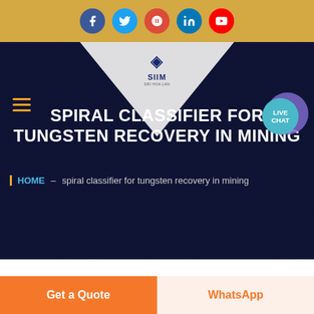[Figure (screenshot): Social media icons bar with Facebook, Twitter, Google+, LinkedIn, YouTube circular icons on golden/amber background]
[Figure (screenshot): Website hero section with dark navy background, SIIM logo in white trapezoid shape at top, hamburger menu icon on left, Live Chat bubble on right]
SPIRAL CLASSIFIER FOR TUNGSTEN RECOVERY IN MINING
HOME – spiral classifier for tungsten recovery in mining
[Figure (photo): Partial view of spiral classifier mining equipment, sepia-toned industrial machinery]
Get a Quote
WhatsApp